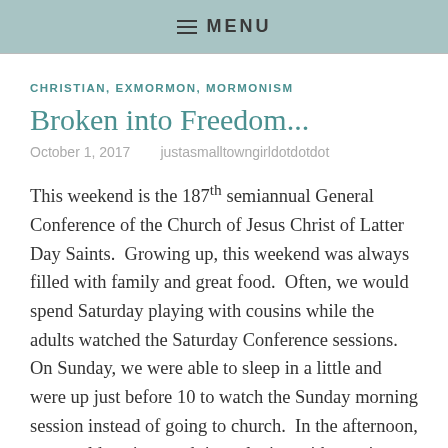≡ MENU
CHRISTIAN, EXMORMON, MORMONISM
Broken into Freedom...
October 1, 2017   justasmalltowngirldotdotdot
This weekend is the 187th semiannual General Conference of the Church of Jesus Christ of Latter Day Saints.  Growing up, this weekend was always filled with family and great food.  Often, we would spend Saturday playing with cousins while the adults watched the Saturday Conference sessions.  On Sunday, we were able to sleep in a little and were up just before 10 to watch the Sunday morning session instead of going to church.  In the afternoon, we would again spend time playing with cousins while the adults watched the final session of conference.